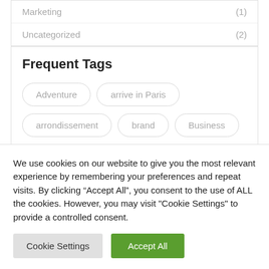Marketing (1)
Uncategorized (2)
Frequent Tags
Adventure
arrive in Paris
arrondissement
brand
Business
We use cookies on our website to give you the most relevant experience by remembering your preferences and repeat visits. By clicking “Accept All”, you consent to the use of ALL the cookies. However, you may visit "Cookie Settings" to provide a controlled consent.
Cookie Settings | Accept All